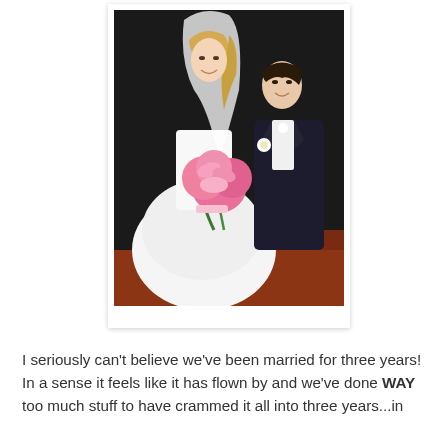[Figure (photo): Wedding photo of a bride in a white ball gown holding a bouquet of pink lilies and a groom in a dark suit, standing together in what appears to be a church or venue with dark background and reddish floor.]
I seriously can't believe we've been married for three years! In a sense it feels like it has flown by and we've done WAY too much stuff to have crammed it all into three years...in